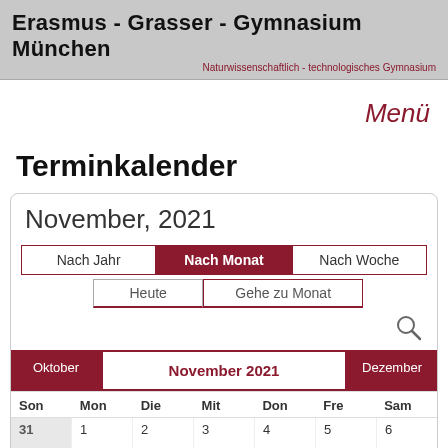Erasmus - Grasser - Gymnasium München
Naturwissenschaftlich - technologisches Gymnasium
Menü
Terminkalender
[Figure (screenshot): Calendar widget showing November 2021 with navigation buttons (Nach Jahr, Nach Monat, Nach Woche), (Heute, Gehe zu Monat), month navigation bar (Oktober | November 2021 | Dezember), day headers (Son, Mon, Die, Mit, Don, Fre, Sam), and first week row showing dates 31 (prev month), 1, 2, 3, 4, 5, 6]